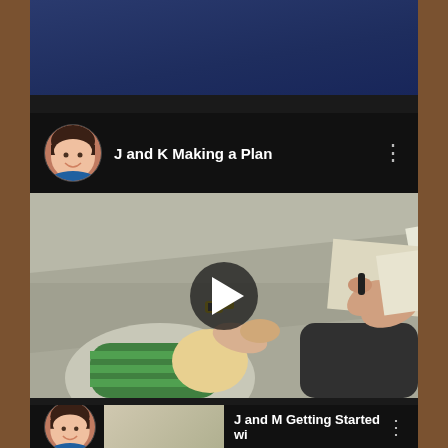[Figure (screenshot): Screenshot of a mobile app (likely YouTube or Google Classroom) showing video cards. The main visible card is titled 'J and K Making a Plan' with a woman's avatar photo and a video thumbnail showing two children drawing/writing on paper from above. A play button overlay is visible in the center of the thumbnail. The bottom of the screen shows a partial second card titled 'J and M Getting Started wi...' with the same woman's avatar.]